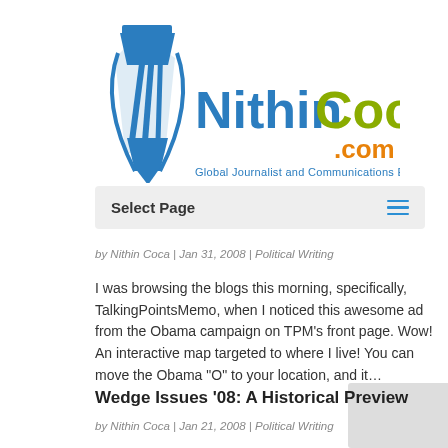[Figure (logo): NithinCoca.com logo with pen nib icon in blue, 'Nithin' in blue, 'Coca' in olive/yellow-green, '.com' in orange, tagline: Global Journalist and Communications Expert]
Select Page
by Nithin Coca | Jan 31, 2008 | Political Writing
I was browsing the blogs this morning, specifically, TalkingPointsMemo, when I noticed this awesome ad from the Obama campaign on TPM’s front page. Wow! An interactive map targeted to where I live! You can move the Obama “O” to your location, and it…
Wedge Issues ‘08: A Historical Preview
by Nithin Coca | Jan 21, 2008 | Political Writing